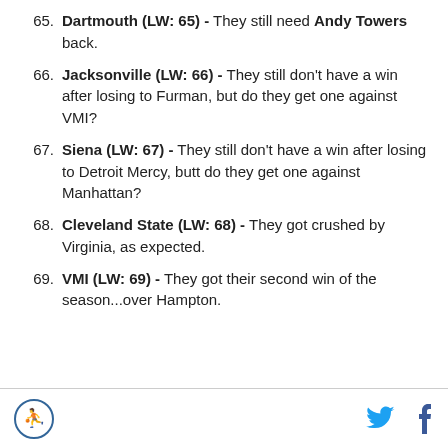65. Dartmouth (LW: 65) - They still need Andy Towers back.
66. Jacksonville (LW: 66) - They still don't have a win after losing to Furman, but do they get one against VMI?
67. Siena (LW: 67) - They still don't have a win after losing to Detroit Mercy, butt do they get one against Manhattan?
68. Cleveland State (LW: 68) - They got crushed by Virginia, as expected.
69. VMI (LW: 69) - They got their second win of the season...over Hampton.